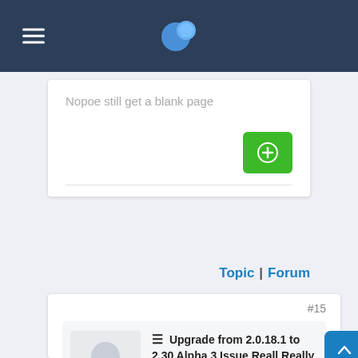Navigation bar with hamburger menu and globe logo
Nopoe still get a blank page
Topic | Forum
#15
≡ Upgrade from 2.0.18.1 to 2.30 Alpha 3 Issue Reall Really Need help
2008/5/9 3:40
Ft24v2